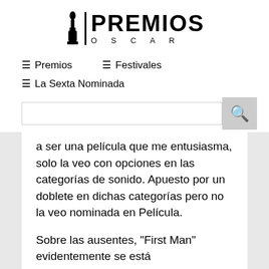[Figure (logo): Premios Oscar logo with Oscar statuette and bold PREMIOS text above O S C A R lettering]
≡ Premios   ≡ Festivales
≡ La Sexta Nominada
a ser una película que me entusiasma, solo la veo con opciones en las categorías de sonido. Apuesto por un doblete en dichas categorías pero no la veo nominada en Película.
Sobre las ausentes, "First Man" evidentemente se está